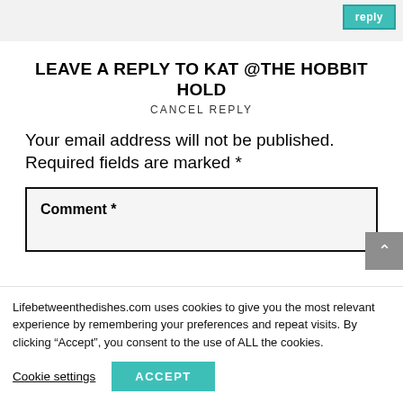LEAVE A REPLY TO KAT @THE HOBBIT HOLD
CANCEL REPLY
Your email address will not be published. Required fields are marked *
Comment *
Lifebetweenthedishes.com uses cookies to give you the most relevant experience by remembering your preferences and repeat visits. By clicking “Accept”, you consent to the use of ALL the cookies.
Cookie settings
ACCEPT